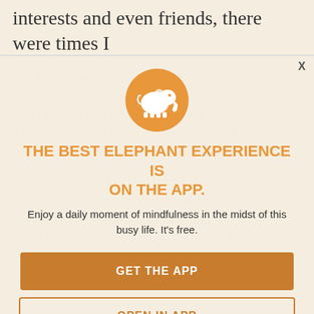interests and even friends, there were times I
felt as if I were lost in a tangled web of modern day pressures. But it was in this web that I found a way to untangle myself and discover my true identity in this world. And to my surprise, it was not what quite what I — an illusion that I have held for a long time since I was not able to identify myself with the ideal career, hobby or group of friends that I was —an illusion that I've held since I was get able to identify myself with the ideal career, hobby or group of friends that I was last. Honestly assumed that you're to find the
[Figure (logo): Elephant Journal app logo — white elephant silhouette on orange circle]
THE BEST ELEPHANT EXPERIENCE IS ON THE APP.
Enjoy a daily moment of mindfulness in the midst of this busy life. It's free.
GET THE APP
OPEN IN APP